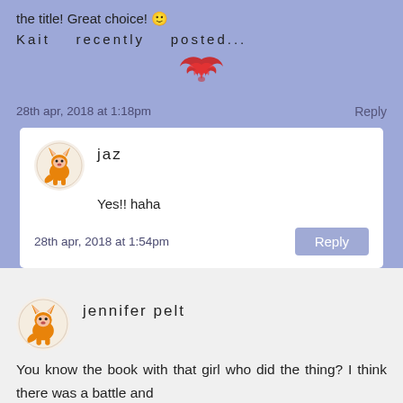the title! Great choice! 🙂
Kait   recently   posted...
[Figure (illustration): Red decorative bird/wings icon]
28th apr, 2018 at 1:18pm
Reply
jaz
Yes!! haha
28th apr, 2018 at 1:54pm
Reply
jennifer pelt
You know the book with that girl who did the thing? I think there was a battle and